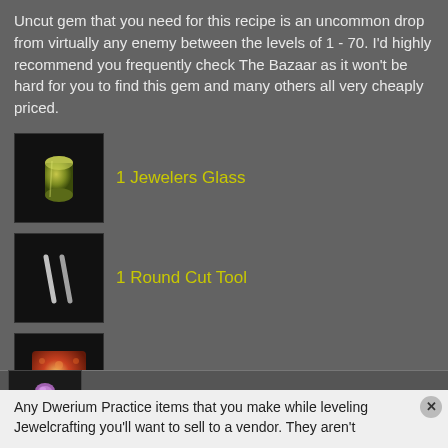Uncut gem that you need for this recipe is an uncommon drop from virtually any enemy between the levels of 1 - 70. I'd highly recommend you frequently check The Bazaar as it won't be hard for you to find this gem and many others all very cheaply priced.
1 Jewelers Glass
1 Round Cut Tool
1 Uncut Morganite
Dwerium Practice Ring (274 Trivial)
Any Dwerium Practice items that you make while leveling Jewelcrafting you'll want to sell to a vendor. They aren't